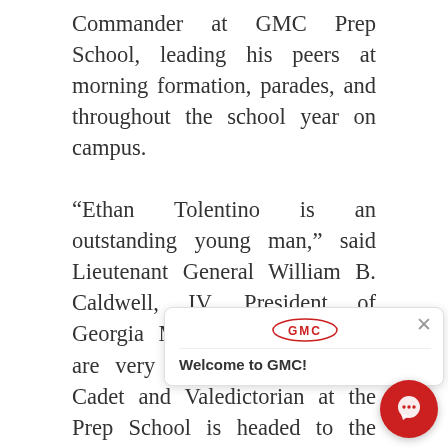Commander at GMC Prep School, leading his peers at morning formation, parades, and throughout the school year on campus.

“Ethan Tolentino is an outstanding young man,” said Lieutenant General William B. Caldwell, IV, President of Georgia Military College. “We are very excited that our top Cadet and Valedictorian at the Prep School is headed to the Naval Academy to serve our country. We ar[e also grateful for NewDay USA fo]r [their continued] support of our stu[dents at the Prep] School. They will be great role models and resources for Ethan when he heads to [the Naval] Academy this summer.”
[Figure (logo): GMC (Georgia Military College) red logo inside chat popup]